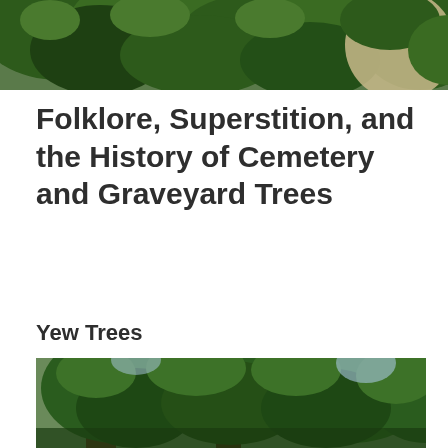[Figure (photo): Top partial photograph showing dense green leafy foliage and a tan/beige circular element on the right side, cropped at the top of the page.]
Folklore, Superstition, and the History of Cemetery and Graveyard Trees
Yew Trees
[Figure (photo): Photograph of a large yew tree with dense, drooping green branches filling most of the frame, with other trees and bright sky visible in the background.]